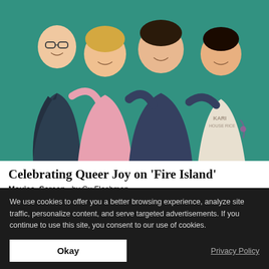[Figure (photo): Four Asian people posing and embracing playfully in front of a teal/green background. Left to right: person in dark jacket with glasses, person in pink top, person in dark denim jacket, person in white dress with tattoos.]
Celebrating Queer Joy on ‘Fire Island’
Movies, Screen  by Cu Fleshman
Amid the seas of LGBTQ dramas in mainstream media, Joel
We use cookies to offer you a better browsing experience, analyze site traffic, personalize content, and serve targeted advertisements. If you continue to use this site, you consent to our use of cookies.
Okay
Privacy Policy